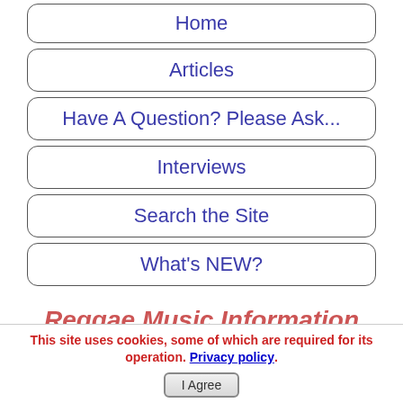Home
Articles
Have A Question? Please Ask...
Interviews
Search the Site
What's NEW?
Reggae Music Information
Brand New Releases
Reggae Music Artists Origins
This site uses cookies, some of which are required for its operation. Privacy policy.
I Agree